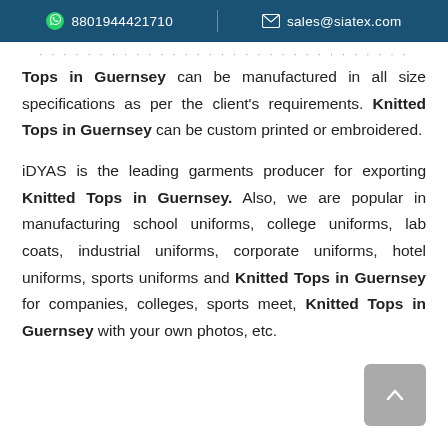8801944421710   sales@siatex.com
Tops in Guernsey can be manufactured in all size specifications as per the client's requirements. Knitted Tops in Guernsey can be custom printed or embroidered.
iDYAS is the leading garments producer for exporting Knitted Tops in Guernsey. Also, we are popular in manufacturing school uniforms, college uniforms, lab coats, industrial uniforms, corporate uniforms, hotel uniforms, sports uniforms and Knitted Tops in Guernsey for companies, colleges, sports meet, Knitted Tops in Guernsey with your own photos, etc.